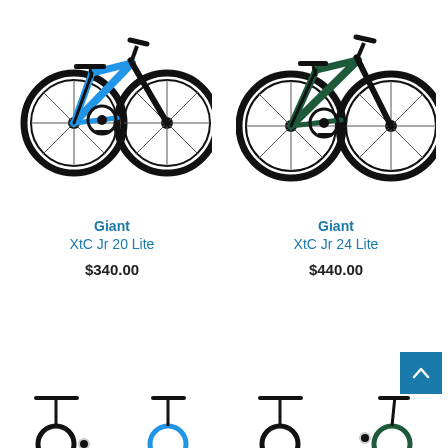[Figure (photo): Giant XtC Jr 20 Lite blue children's bicycle viewed from the side]
Giant
XtC Jr 20 Lite
$340.00
[Figure (photo): Giant XtC Jr 24 Lite dark green children's bicycle viewed from the side]
Giant
XtC Jr 24 Lite
$440.00
[Figure (photo): Partial bicycle images at the bottom of the page (cropped)]